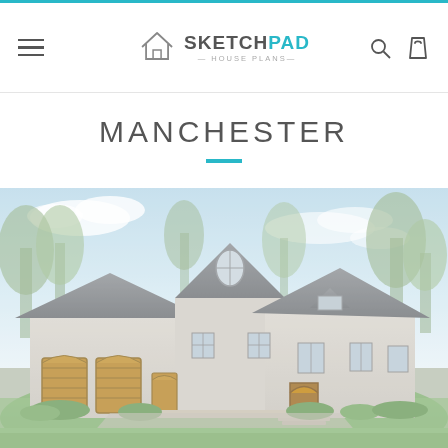SketchPad House Plans — Navigation bar with hamburger menu, logo, search and cart icons
MANCHESTER
[Figure (photo): Exterior photo of the Manchester house plan — a large French-country style home with steep gray roof, dormer windows, triple garage with wood doors, stucco facade, arched entryway, surrounded by green lawn and trees under a blue sky.]